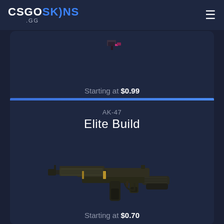[Figure (logo): CSGOSKINS.GG logo in white and blue, with hamburger menu icon on right]
[Figure (screenshot): Partial weapon card showing price: Starting at $0.99]
[Figure (screenshot): AK-47 Elite Build weapon card showing the gun image and price: Starting at $0.70]